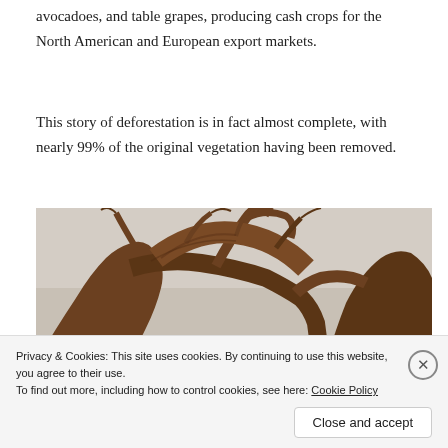avocadoes, and table grapes, producing cash crops for the North American and European export markets.
This story of deforestation is in fact almost complete, with nearly 99% of the original vegetation having been removed.
[Figure (photo): Close-up photograph of gnarled, bare tree branches with twisting trunks against a pale sky, illustrating deforested landscape.]
Privacy & Cookies: This site uses cookies. By continuing to use this website, you agree to their use.
To find out more, including how to control cookies, see here: Cookie Policy